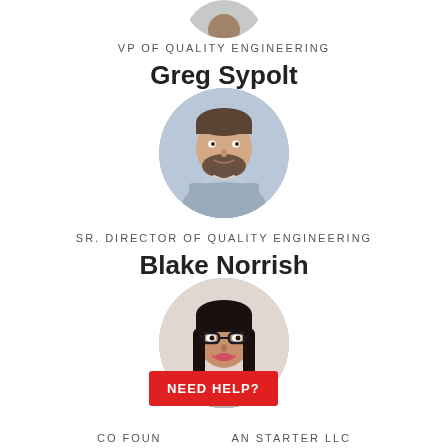[Figure (photo): Partial photo of a person (cropped at top), shown as circular avatar at the top of the page]
VP OF QUALITY ENGINEERING
Greg Sypolt
[Figure (photo): Circular headshot of Greg Sypolt, a man with dark hair and beard wearing a checkered shirt]
SR. DIRECTOR OF QUALITY ENGINEERING
Blake Norrish
[Figure (photo): Circular headshot of a woman with long dark hair and glasses, smiling]
NEED HELP?
CO FOUNDER AN STARTER LLC